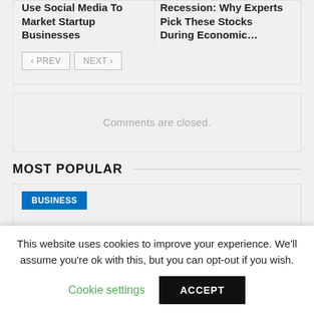Use Social Media To Market Startup Businesses
Recession: Why Experts Pick These Stocks During Economic…
PREV
NEXT
Comments are closed.
MOST POPULAR
BUSINESS
This website uses cookies to improve your experience. We'll assume you're ok with this, but you can opt-out if you wish.
Cookie settings
ACCEPT